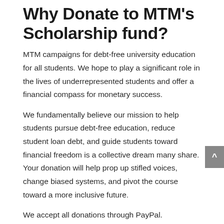Why Donate to MTM's Scholarship fund?
MTM campaigns for debt-free university education for all students. We hope to play a significant role in the lives of underrepresented students and offer a financial compass for monetary success.
We fundamentally believe our mission to help students pursue debt-free education, reduce student loan debt, and guide students toward financial freedom is a collective dream many share. Your donation will help prop up stifled voices, change biased systems, and pivot the course toward a more inclusive future.
We accept all donations through PayPal.
DONATE